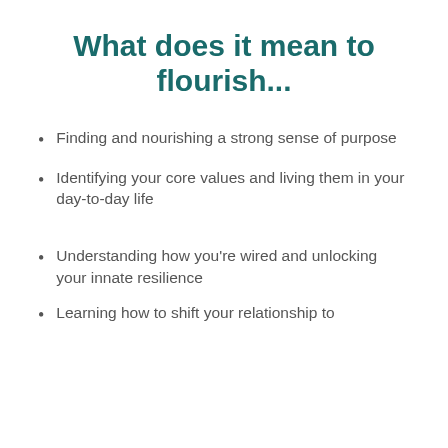What does it mean to flourish...
Finding and nourishing a strong sense of purpose
Identifying your core values and living them in your day-to-day life
Understanding how you’re wired and unlocking your innate resilience
Learning how to shift your relationship to